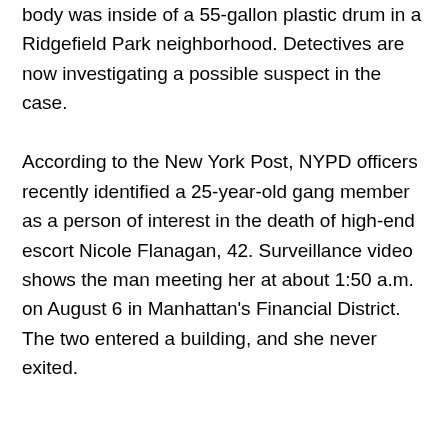body was inside of a 55-gallon plastic drum in a Ridgefield Park neighborhood. Detectives are now investigating a possible suspect in the case.

According to the New York Post, NYPD officers recently identified a 25-year-old gang member as a person of interest in the death of high-end escort Nicole Flanagan, 42. Surveillance video shows the man meeting her at about 1:50 a.m. on August 6 in Manhattan's Financial District. The two entered a building, and she never exited.